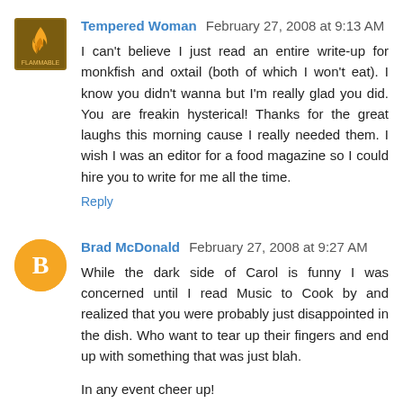Tempered Woman  February 27, 2008 at 9:13 AM
I can't believe I just read an entire write-up for monkfish and oxtail (both of which I won't eat). I know you didn't wanna but I'm really glad you did. You are freakin hysterical! Thanks for the great laughs this morning cause I really needed them. I wish I was an editor for a food magazine so I could hire you to write for me all the time.
Reply
Brad McDonald  February 27, 2008 at 9:27 AM
While the dark side of Carol is funny I was concerned until I read Music to Cook by and realized that you were probably just disappointed in the dish. Who want to tear up their fingers and end up with something that was just blah.
In any event cheer up!
Reply